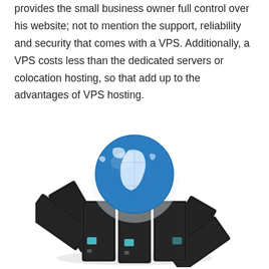provides the small business owner full control over his website; not to mention the support, reliability and security that comes with a VPS. Additionally, a VPS costs less than the dedicated servers or colocation hosting, so that add up to the advantages of VPS hosting.
[Figure (illustration): 3D illustration of a globe (blue and white Earth) sitting atop a ring of black server towers arranged in a circular formation, on a white background.]